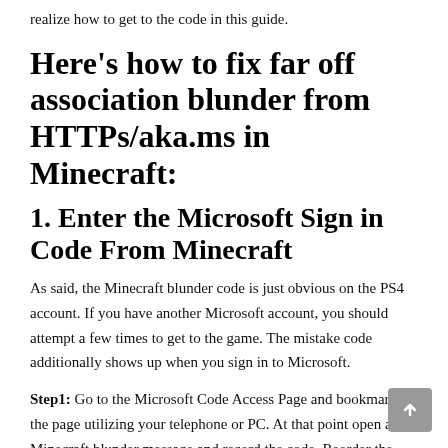realize how to get to the code in this guide.
Here's how to fix far off association blunder from HTTPs/aka.ms in Minecraft:
1. Enter the Microsoft Sign in Code From Minecraft
As said, the Minecraft blunder code is just obvious on the PS4 account. If you have another Microsoft account, you should attempt a few times to get to the game. The mistake code additionally shows up when you sign in to Microsoft.
Step1: Go to the Microsoft Code Access Page and bookmark the page utilizing your telephone or PC. At that point open a Minecraft blunder message and record the code. Reorder the code on the Microsoft site of another gadget. This strategy is known as the savage power technique for aka.ms/remoteconnect . After you enter the code, you will